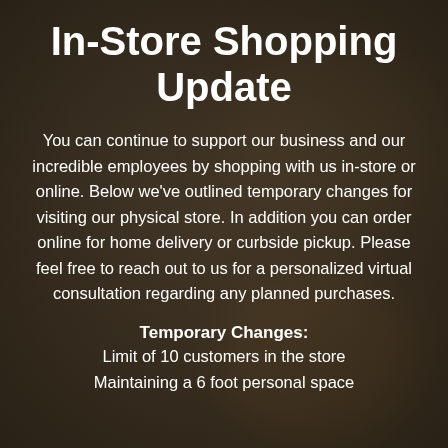[Figure (photo): Blurred bokeh background photo of a person shopping in a store, warm tones]
In-Store Shopping Update
You can continue to support our business and our incredible employees by shopping with us in-store or online. Below we've outlined temporary changes for visiting our physical store. In addition you can order online for home delivery or curbside pickup. Please feel free to reach out to us for a personalized virtual consultation regarding any planned purchases.
Temporary Changes:
Limit of 10 customers in the store
Maintaining a 6 foot personal space